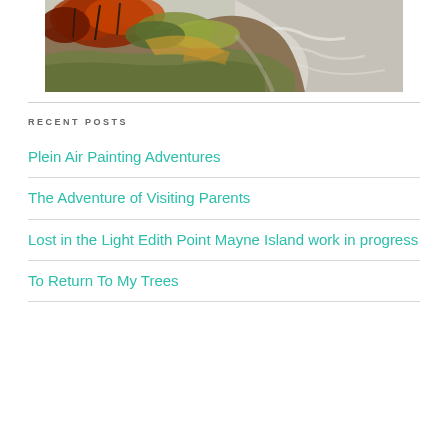[Figure (illustration): A colorful impressionist-style painting of a coastal cliff scene with autumn-colored trees on the left and white waves on the right, viewed from above.]
RECENT POSTS
Plein Air Painting Adventures
The Adventure of Visiting Parents
Lost in the Light Edith Point Mayne Island work in progress
To Return To My Trees